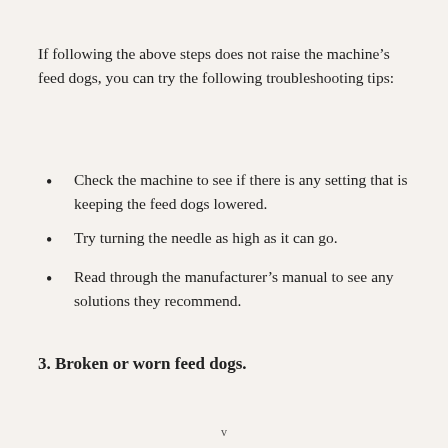If following the above steps does not raise the machine’s feed dogs, you can try the following troubleshooting tips:
Check the machine to see if there is any setting that is keeping the feed dogs lowered.
Try turning the needle as high as it can go.
Read through the manufacturer’s manual to see any solutions they recommend.
3. Broken or worn feed dogs.
v